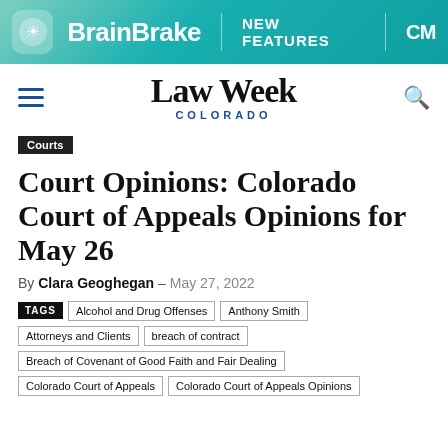[Figure (other): BrainBrake advertisement banner with teal/green gradient background, logo icon, brand name BrainBrake, NEW FEATURES text, and CM logo]
Law Week Colorado
Courts
Court Opinions: Colorado Court of Appeals Opinions for May 26
By Clara Geoghegan - May 27, 2022
TAGS  Alcohol and Drug Offenses  Anthony Smith  Attorneys and Clients  breach of contract  Breach of Covenant of Good Faith and Fair Dealing  Colorado Court of Appeals  Colorado Court of Appeals Opinions